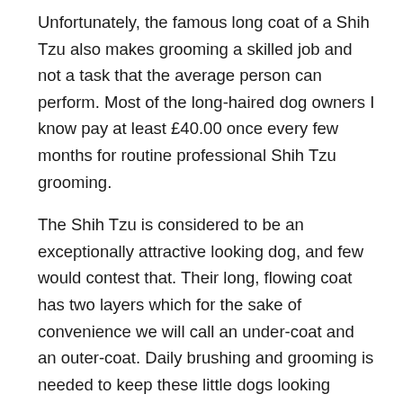Unfortunately, the famous long coat of a Shih Tzu also makes grooming a skilled job and not a task that the average person can perform. Most of the long-haired dog owners I know pay at least £40.00 once every few months for routine professional Shih Tzu grooming.
The Shih Tzu is considered to be an exceptionally attractive looking dog, and few would contest that. Their long, flowing coat has two layers which for the sake of convenience we will call an under-coat and an outer-coat. Daily brushing and grooming is needed to keep these little dogs looking amazing. A few Shih Tzu owners do keep their dogs trimmed down in a short haircut to make it easier to care for their coats, but most owners adore the charm of their dog's long coat and like to show it off. Also, if you intend to show your dog at a dog show, you will need to keep the coat long.